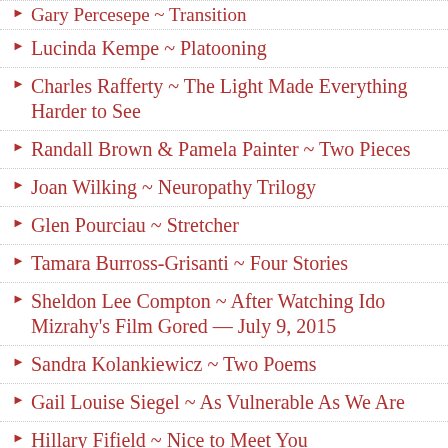Gary Percesepe ~ Transition
Lucinda Kempe ~ Platooning
Charles Rafferty ~ The Light Made Everything Harder to See
Randall Brown & Pamela Painter ~ Two Pieces
Joan Wilking ~ Neuropathy Trilogy
Glen Pourciau ~ Stretcher
Tamara Burross-Grisanti ~ Four Stories
Sheldon Lee Compton ~ After Watching Ido Mizrahy's Film Gored — July 9, 2015
Sandra Kolankiewicz ~ Two Poems
Gail Louise Siegel ~ As Vulnerable As We Are
Hillary Fifield ~ Nice to Meet You
David Gilbert ~ Stupa